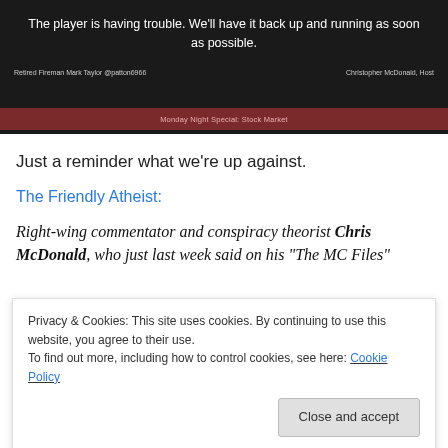[Figure (screenshot): Video player showing two people with error message 'The player is having trouble. We'll have it back up and running as soon as possible.' Captions: 'Retired Fireman Mark Taylor @patton6966' and 'Christopher McDonald, Host'. A red lower-third bar with text is visible.]
Just a reminder what we're up against.
The Friendly Atheist:
Right-wing commentator and conspiracy theorist Chris McDonald, who just last week said on his "The MC Files"
Privacy & Cookies: This site uses cookies. By continuing to use this website, you agree to their use.
To find out more, including how to control cookies, see here: Cookie Policy
the Liberty University connected film The Trump